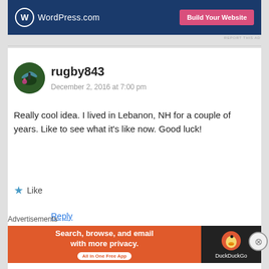[Figure (screenshot): WordPress.com advertisement banner with blue background, WordPress logo, and pink 'Build Your Website' button]
REPORT THIS AD
rugby843
December 2, 2016 at 7:00 pm
Really cool idea. I lived in Lebanon, NH for a couple of years. Like to see what it's like now. Good luck!
★ Like
Reply
Advertisements
[Figure (screenshot): DuckDuckGo advertisement: 'Search, browse, and email with more privacy. All in One Free App' on orange background with duck logo on dark background]